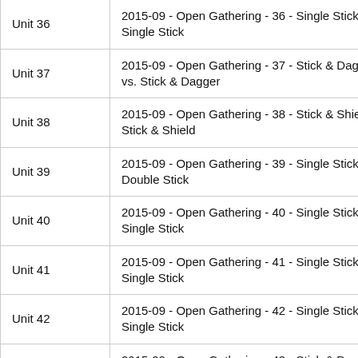| Unit | Description |
| --- | --- |
| Unit 36 | 2015-09 - Open Gathering - 36 - Single Stick vs. Single Stick |
| Unit 37 | 2015-09 - Open Gathering - 37 - Stick & Dagger vs. Stick & Dagger |
| Unit 38 | 2015-09 - Open Gathering - 38 - Stick & Shield vs. Stick & Shield |
| Unit 39 | 2015-09 - Open Gathering - 39 - Single Stick vs. Double Stick |
| Unit 40 | 2015-09 - Open Gathering - 40 - Single Stick vs. Single Stick |
| Unit 41 | 2015-09 - Open Gathering - 41 - Single Stick vs. Single Stick |
| Unit 42 | 2015-09 - Open Gathering - 42 - Single Stick vs. Single Stick |
| Unit 43 | 2015-09 - Open Gathering - 43 - Stick & Dagger vs. Stick & Dagger |
| Unit 44 | 2015-09 - Open Gathering - 44 - Single Stick vs. Single Stick |
| Unit 45 | 2015-09 - Open Gathering - 45 - Single Stick vs. Single Stick |